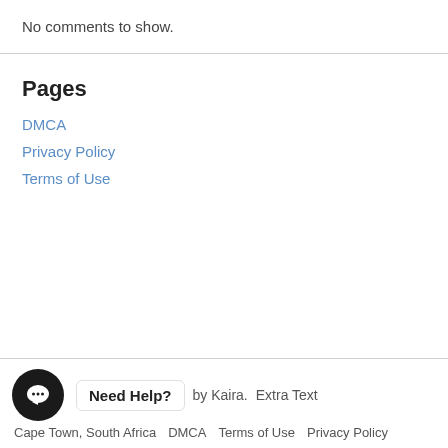No comments to show.
Pages
DMCA
Privacy Policy
Terms of Use
Need Help?  by Kaira.  Extra Text  Cape Town, South Africa  DMCA  Terms of Use  Privacy Policy